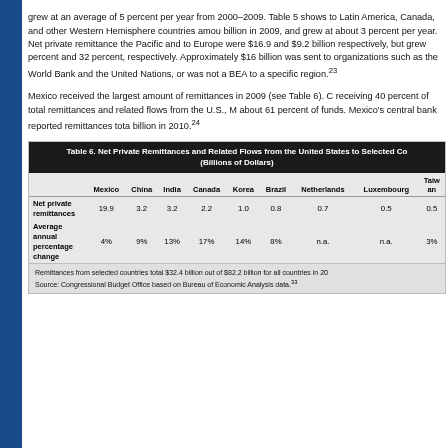grew at an average of 5 percent per year from 2000–2009. Table 5 shows to Latin America, Canada, and other Western Hemisphere countries amou billion in 2009, and grew at about 3 percent per year. Net private remittance the Pacific and to Europe were $16.9 and $9.2 billion respectively, but grew percent and 32 percent, respectively. Approximately $16 billion was sent to organizations such as the World Bank and the United Nations, or was not a BEA to a specific region.²³
Mexico received the largest amount of remittances in 2009 (see Table 6). C receiving 40 percent of total remittances and related flows from the U.S., M about 61 percent of funds. Mexico's central bank reported remittances tota billion in 2010.²⁴
|  | Mexico | China | India | Canada | Korea | Brazil | Netherlands | Luxembourg | Taiwan |
| --- | --- | --- | --- | --- | --- | --- | --- | --- | --- |
| Net private remittances | 19.9 | 3.2 | 3.2 | 2.2 | 1.0 | 0.8 | 0.7 | 0.5 | 0.5 |
| Average annual percentage change | 4% | 9% | 13% | 17% | 14% | 8% | n.a. | n.a. | 3% |